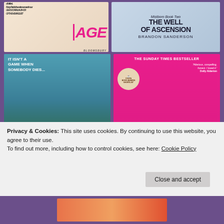[Figure (photo): Book cover of 'Ice Age' published by Bloomsbury, pink stylized text on light background]
[Figure (photo): Book cover of 'The Well of Ascension' Mistborn Book Two by Brandon Sanderson, dark blue misty cover]
[Figure (photo): Book cover of 'The Lying Game' by Ruth Ware, teal water with green mossy pillars, pink title text. Tagline: IT ISN'T A GAME WHEN SOMEBODY DIES...]
[Figure (photo): Book cover of 'Queenie' by Candice Carty-Williams, hot pink cover with braided hair illustration. THE SUNDAY TIMES BESTSELLER. Costa Book Awards Shortlist badge.]
Privacy & Cookies: This site uses cookies. By continuing to use this website, you agree to their use.
To find out more, including how to control cookies, see here: Cookie Policy
Close and accept